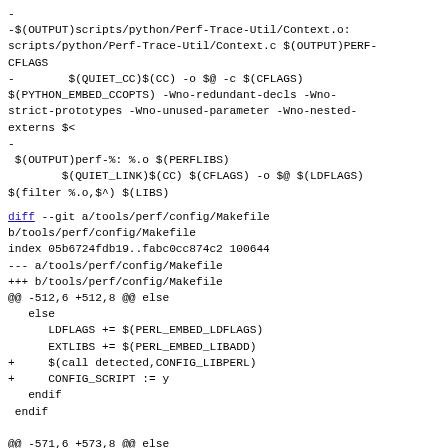-
-$(OUTPUT)scripts/python/Perf-Trace-Util/Context.o: scripts/python/Perf-Trace-Util/Context.c $(OUTPUT)PERF-CFLAGS
-        $(QUIET_CC)$(CC) -o $@ -c $(CFLAGS) $(PYTHON_EMBED_CCOPTS) -Wno-redundant-decls -Wno-strict-prototypes -Wno-unused-parameter -Wno-nested-externs $<
-
 $(OUTPUT)perf-%: %.o $(PERFLIBS)
        $(QUIET_LINK)$(CC) $(CFLAGS) -o $@ $(LDFLAGS) $(filter %.o,$^) $(LIBS)
diff --git a/tools/perf/config/Makefile b/tools/perf/config/Makefile
index 05b6724fdb19..fabc0cc874c2 100644
--- a/tools/perf/config/Makefile
+++ b/tools/perf/config/Makefile
@@ -512,6 +512,8 @@ else
    else
        LDFLAGS += $(PERL_EMBED_LDFLAGS)
        EXTLIBS += $(PERL_EMBED_LIBADD)
+      $(call detected,CONFIG_LIBPERL)
+      CONFIG_SCRIPT := y
    endif
 endif

@@ -571,6 +573,8 @@ else
            LDFLAGS += $(PYTHON_EMBED_LDFLAGS)
            EXTLIBS += $(PYTHON_EMBED_LIBADD)